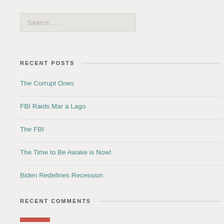Search …
RECENT POSTS
The Corrupt Ones
FBI Raids Mar a Lago
The FBI
The Time to Be Awake is Now!
Biden Redefines Recession
RECENT COMMENTS